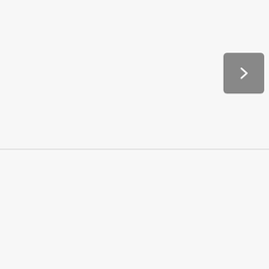[Figure (other): Navigation arrow button (gray rounded square with right-pointing arrow) in the upper right area of the page]
More Palace Views:
[Figure (other): Thumbnail image gallery area below the 'More Palace Views:' heading, currently showing a light gray placeholder region]